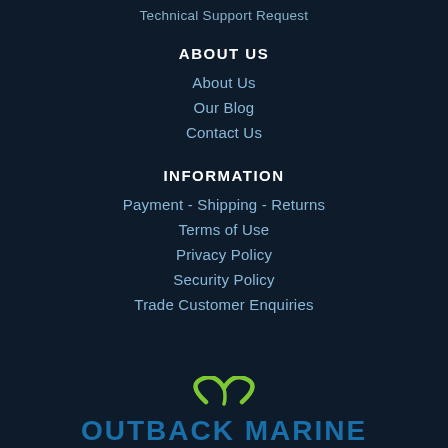Technical Support Request
ABOUT US
About Us
Our Blog
Contact Us
INFORMATION
Payment - Shipping - Returns
Terms of Use
Privacy Policy
Security Policy
Trade Customer Enquiries
[Figure (logo): Outback Marine logo with green swoosh/palm leaf above blue text reading OUTBACK MARINE]